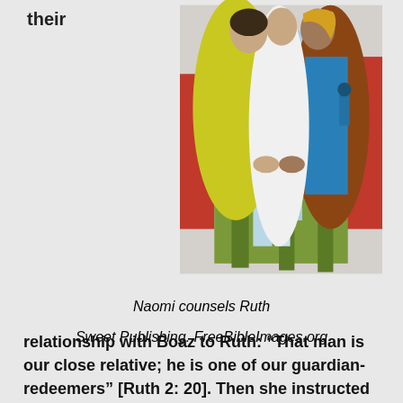their
[Figure (illustration): Illustration of Naomi counseling Ruth — two women in colorful robes leaning toward each other over a table, holding hands. From Sweet Publishing, FreeBibleImages.org]
Naomi counsels Ruth
Sweet Publishing. FreeBibleImages.org
relationship with Boaz to Ruth: “That man is our close relative; he is one of our guardian-redeemers” [Ruth 2: 20]. Then she instructed Ruth on how to present the proposal to Boaz [Ruth 3:3–4]: “Therefore wash yourself and anoint yourself, put on your best garment and go down to the